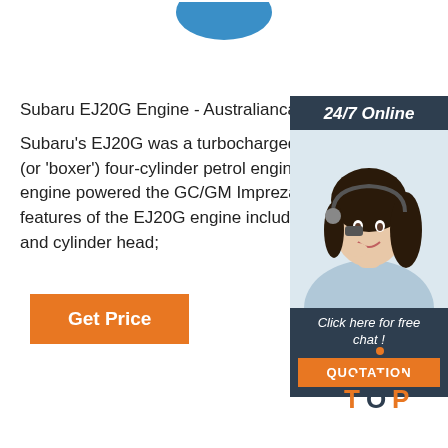[Figure (logo): Partial blue logo/graphic at top center of page]
Subaru EJ20G Engine - Australiancar.Reviews
Subaru's EJ20G was a turbocharged, 2.0-litre horizontally-opposed (or 'boxer') four-cylinder petrol engine. For Australia, the EJ20G engine powered the GC/GM Impreza WRX from 199... features of the EJ20G engine included its: . Die-cast... and cylinder head;
[Figure (other): Sidebar advertisement panel with '24/7 Online' header, woman with headset photo, 'Click here for free chat!' text, and orange QUOTATION button]
[Figure (other): Get Price orange button]
[Figure (illustration): TOP icon with orange dots arranged in triangle above the word TOP in orange and dark text]